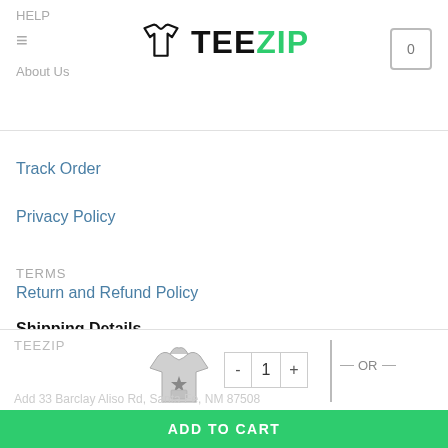HELP
≡
About Us
TEEZIP (logo)
0 (cart)
Track Order
Privacy Policy
TERMS
Return and Refund Policy
Shipping Details
Terms & Conditions
TEEZIP
- 1 + OR —
Add 33 Barclay Aliso Rd, Santa Fe, NM 87508
ADD TO CART